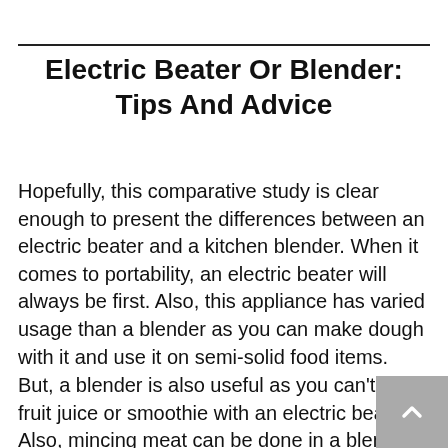Electric Beater Or Blender: Tips And Advice
Hopefully, this comparative study is clear enough to present the differences between an electric beater and a kitchen blender. When it comes to portability, an electric beater will always be first. Also, this appliance has varied usage than a blender as you can make dough with it and use it on semi-solid food items.
But, a blender is also useful as you can't make fruit juice or smoothie with an electric beater. Also, mincing meat can be done in a blender.